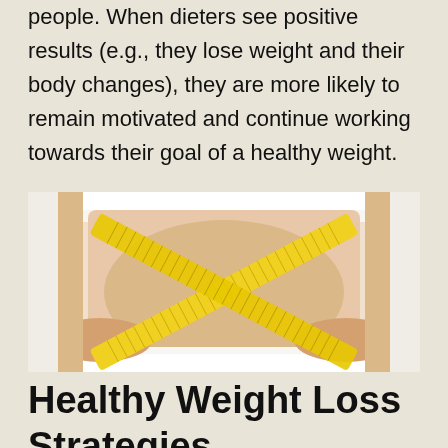people. When dieters see positive results (e.g., they lose weight and their body changes), they are more likely to remain motivated and continue working towards their goal of a healthy weight.
[Figure (photo): A person measuring their waist with a yellow tape measure crossed in an X pattern around their midsection, against a white background.]
Healthy Weight Loss Strategies